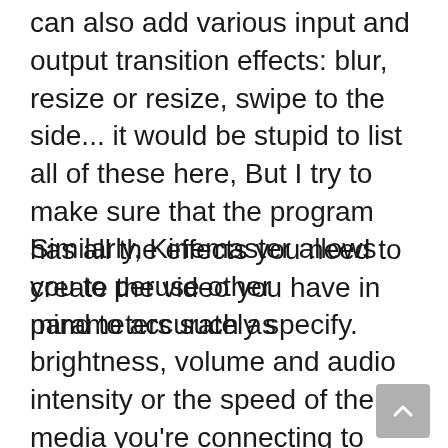can also add various input and output transition effects: blur, resize or resize, swipe to the side... it would be stupid to list all of these here, But I try to make sure that the program has all the effects you need to create the video you have in mind to accurately specify.
Similarly, Kinemaster allows you to peruse other parameters such as brightness, volume and audio intensity or the speed of the media you're connecting to simultaneously. The different layers in your timeline give you a detailed view of your project and make it very easy to edit. You can also work with videos in Chrome. The possibilities are immense.